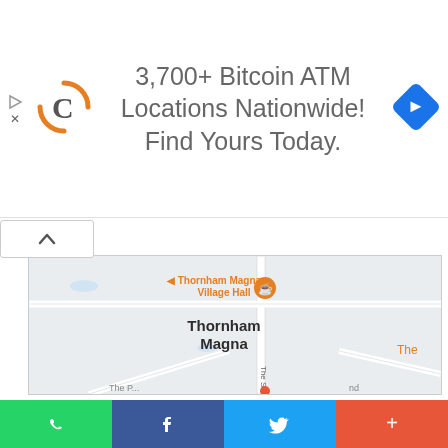[Figure (infographic): Advertisement banner: Coinstar logo, text '3,700+ Bitcoin ATM Locations Nationwide! Find Yours Today.' with blue diamond navigation icon]
[Figure (map): Google Maps screenshot showing Thornham Magna area with village hall marker, roads, and street labels]
Hardman & Oakley
96 Bonny Cres, Ipswich IP3 9UN, United Kingdom
[Figure (infographic): Social share bar with WhatsApp, Facebook, Twitter, and more (+) buttons]